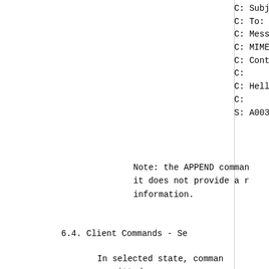C: Subject: at
C: To: mooch@
C: Message-Id
C: MIME-Versio
C: Content-Typ
C:
C: Hello Joe,
C:
S: A003 OK APP
Note: the APPEND comman
it does not provide a r
information.
6.4.    Client Commands - Se
In selected state, comman
permitted.
In addition to the univers
and the authenticated stat